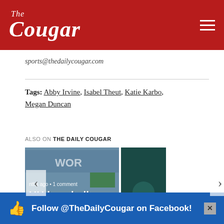The Cougar
sports@thedailycougar.com
Tags: Abby Irvine, Isabel Theut, Katie Karbo, Megan Duncan
ALSO ON THE DAILY COUGAR
[Figure (photo): Carousel showing two article cards: 'UH baseball season ends in a...' with a baseball player photo, and 'Social addict...' with a dark teal background. Navigation arrows on left and right sides.]
Follow @TheDailyCougar on Facebook!